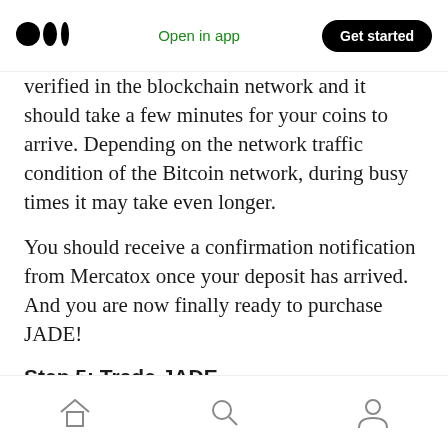Medium logo | Open in app | Get started
verified in the blockchain network and it should take a few minutes for your coins to arrive. Depending on the network traffic condition of the Bitcoin network, during busy times it may take even longer.
You should receive a confirmation notification from Mercatox once your deposit has arrived. And you are now finally ready to purchase JADE!
Step 5: Trade JADE
[Figure (screenshot): Screenshot of the Mercatox trading platform interface showing the green navigation bar with TRADE, LENDING, E-WALLET links and a trading row with order details and a green button.]
Home | Search | Profile navigation icons